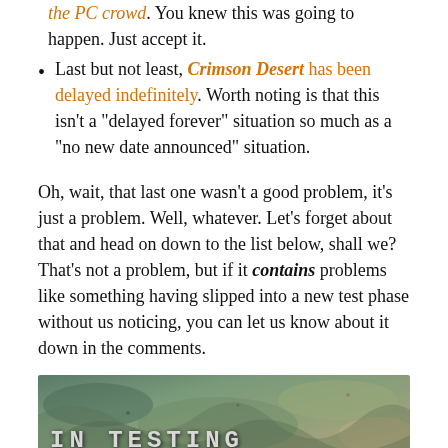the PC crowd. You knew this was going to happen. Just accept it.
Last but not least, Crimson Desert has been delayed indefinitely. Worth noting is that this isn't a "delayed forever" situation so much as a "no new date announced" situation.
Oh, wait, that last one wasn't a good problem, it's just a problem. Well, whatever. Let's forget about that and head on down to the list below, shall we? That's not a problem, but if it contains problems like something having slipped into a new test phase without us noticing, you can let us know about it down in the comments.
[Figure (illustration): A banner image with a fantasy map background and the text 'IN TESTING' in bold monospace letters at the bottom left.]
As always, we consider an MMO to be in a testing state...